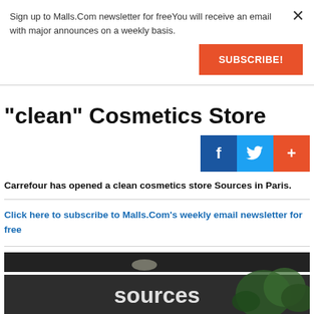Sign up to Malls.Com newsletter for freeYou will receive an email with major announces on a weekly basis.
SUBSCRIBE!
"clean" Cosmetics Store
[Figure (illustration): Social media share buttons: Facebook (blue), Twitter (light blue), Plus/Share (orange-red)]
Carrefour has opened a clean cosmetics store Sources in Paris.
Click here to subscribe to Malls.Com's weekly email newsletter for free
[Figure (photo): Exterior storefront photo showing a store sign reading 'sources' with plants/greenery visible]